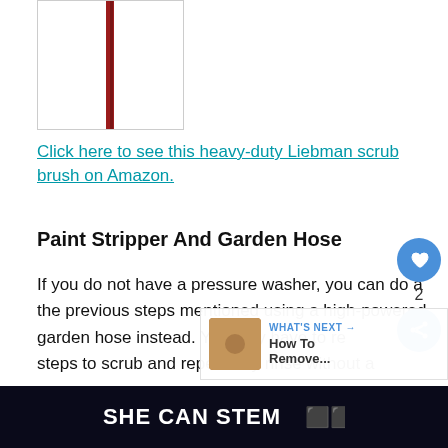[Figure (photo): Product image of a scrub brush with a red handle on white background, partially visible]
Click here to see this heavy-duty Liebman scrub brush on Amazon.
Paint Stripper And Garden Hose
If you do not have a pressure washer, you can do all the previous steps mentioned using a high-powered garden hose instead. You may have to re steps to scrub and repeatedly rinse without a
[Figure (other): What's Next overlay showing thumbnail and How To Remove... text]
[Figure (other): Black banner advertisement reading SHE CAN STEM with logo]